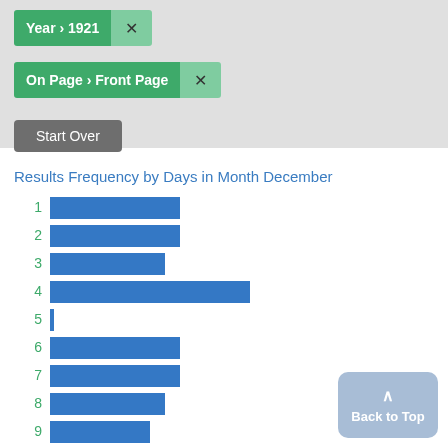Year > 1921 ×
On Page > Front Page ×
Start Over
Results Frequency by Days in Month December
[Figure (bar-chart): Results Frequency by Days in Month December]
Back to Top